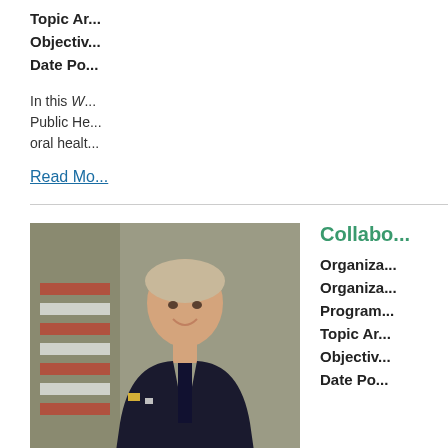Topic Ar...
Objectiv...
Date Po...
In this W... Public He... oral healt...
Read Mo...
[Figure (photo): A woman in a US Navy uniform smiling in front of an American flag]
Collabo...
Organiza...
Organiza...
Program...
Topic Ar...
Objectiv...
Date Po...